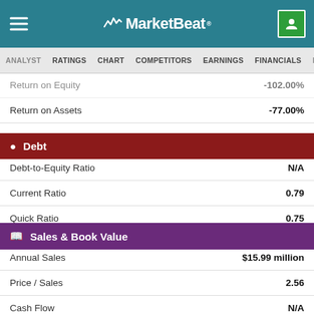MarketBeat
ANALYST RATINGS  CHART  COMPETITORS  EARNINGS  FINANCIALS  INSIDER
| Metric | Value |
| --- | --- |
| Return on Equity | -102.00% |
| Return on Assets | -77.00% |
Debt
| Metric | Value |
| --- | --- |
| Debt-to-Equity Ratio | N/A |
| Current Ratio | 0.79 |
| Quick Ratio | 0.75 |
Sales & Book Value
| Metric | Value |
| --- | --- |
| Annual Sales | $15.99 million |
| Price / Sales | 2.56 |
| Cash Flow | N/A |
| Price / Cash Flow | N/A |
| Book Value | ($0.06) per share |